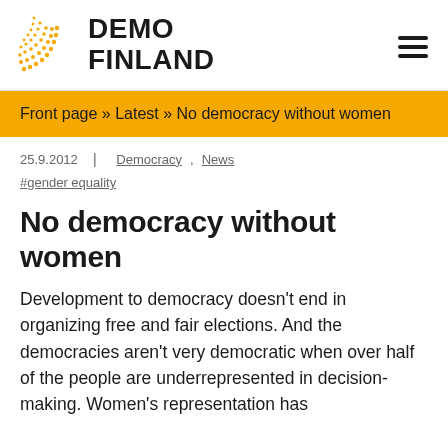DEMO FINLAND
Front page » Latest » No democracy without women
25.9.2012   |   Democracy, News
#gender equality
No democracy without women
Development to democracy doesn't end in organizing free and fair elections. And the democracies aren't very democratic when over half of the people are underrepresented in decision-making. Women's representation has